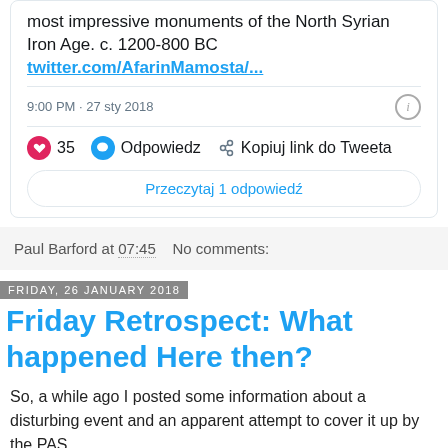most impressive monuments of the North Syrian Iron Age. c. 1200-800 BC twitter.com/AfarinMamosta/...
9:00 PM · 27 sty 2018
35  Odpowiedz  Kopiuj link do Tweeta
Przeczytaj 1 odpowiedź
Paul Barford at 07:45    No comments:
Friday, 26 January 2018
Friday Retrospect: What happened Here then?
So, a while ago I posted some information about a disturbing event and an apparent attempt to cover it up by the PAS...
Far From Bloombury: A PAS Cover-up? PACHI Tuesday, 2